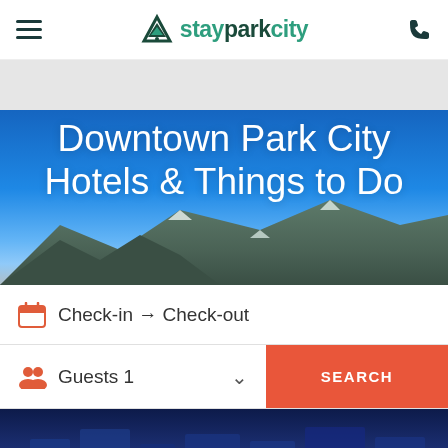stayparkcity
[Figure (screenshot): Hero banner image of Park City ski resort with blue sky and snowy mountains, overlaid with large white text]
Downtown Park City Hotels & Things to Do
Check-in → Check-out
Guests 1
SEARCH
[Figure (photo): Aerial night photo of Park City downtown with illuminated streets and snowy buildings]
RECEIVE A $100 GIFT CARD WITH BOOKING